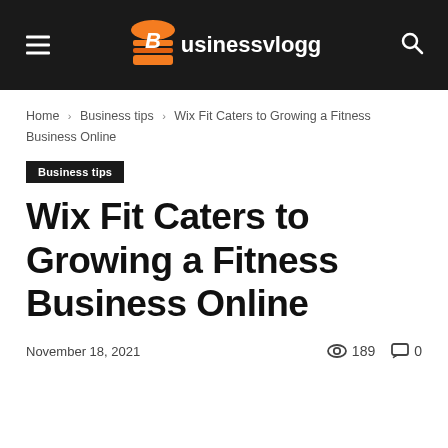businessvlogg
Home › Business tips › Wix Fit Caters to Growing a Fitness Business Online
Business tips
Wix Fit Caters to Growing a Fitness Business Online
November 18, 2021  189  0